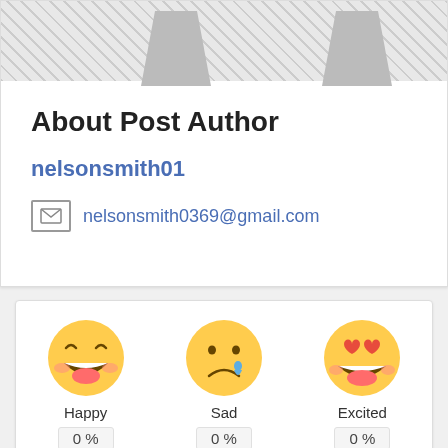About Post Author
nelsonsmith01
nelsonsmith0369@gmail.com
[Figure (illustration): Three emoji reaction faces: Happy (laughing face), Sad (crying face), Excited (heart-eyes face), each with 0% below them]
Happy 0 %
Sad 0 %
Excited 0 %